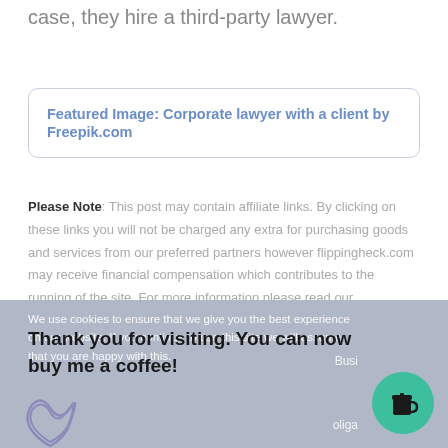case, they hire a third-party lawyer.
Featured Image: Corporate lawyer with a client by Freepik.com
Please Note: This post may contain affiliate links. By clicking on these links you will not be charged any extra for purchasing goods and services from our preferred partners however flippingheck.com may receive financial compensation which contributes to the running of the site. For more information please read our Advertising & Affiliate Disclosure Policy
We use cookies to ensure that we give you the best experience on our website. If you continue to use this site we will assume that you are happy with this.
Thank you for visiting. You can now buy me a coffee!